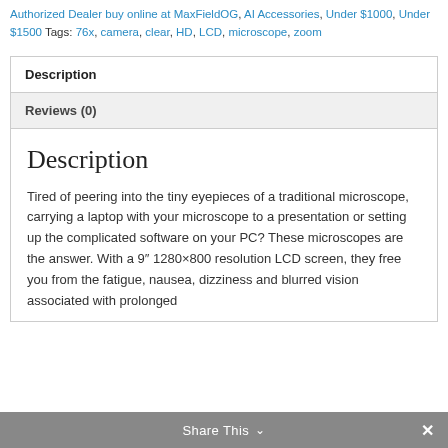Authorized Dealer buy online at MaxFieldOG, AI Accessories, Under $1000, Under $1500 Tags: 76x, camera, clear, HD, LCD, microscope, zoom
Description
Reviews (0)
Description
Tired of peering into the tiny eyepieces of a traditional microscope, carrying a laptop with your microscope to a presentation or setting up the complicated software on your PC? These microscopes are the answer. With a 9″ 1280×800 resolution LCD screen, they free you from the fatigue, nausea, dizziness and blurred vision associated with prolonged
Share This